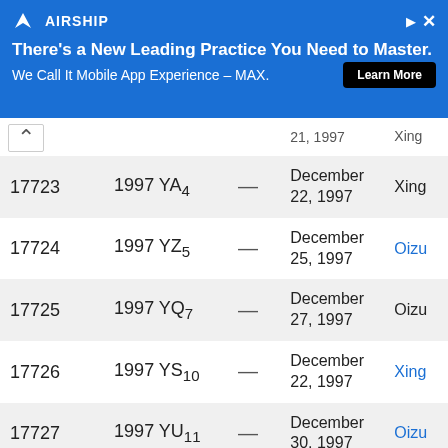[Figure (screenshot): Airship advertisement banner with blue background. Logo and headline: 'There's a New Leading Practice You Need to Master. We Call It Mobile App Experience – MAX.' with a Learn More button.]
| # | Designation |  | Date | Observer |
| --- | --- | --- | --- | --- |
| 17723 | 1997 YA₄ | — | December 22, 1997 | Xing |
| 17724 | 1997 YZ₅ | — | December 25, 1997 | Oizu |
| 17725 | 1997 YQ₇ | — | December 27, 1997 | Oizu |
| 17726 | 1997 YS₁₀ | — | December 22, 1997 | Xing |
| 17727 | 1997 YU₁₁ | — | December 30, 1997 | Oizu |
| 17728 | 1997 YM₁₂ | — | December 21, 1997 | Kitt |
| 17729 | 1997 YW₁₄ | — | December 28, 1997 | Kitt |
| 17730 | 1998 AS₄ | — | January 6, 1998 | Kitt |
| 17731 | 1998 AD₁₀ | — | January 15, 1998 | Cau |
| 17732 | 1998 AO₁₀ | — | January 1, 1998 | Kitt |